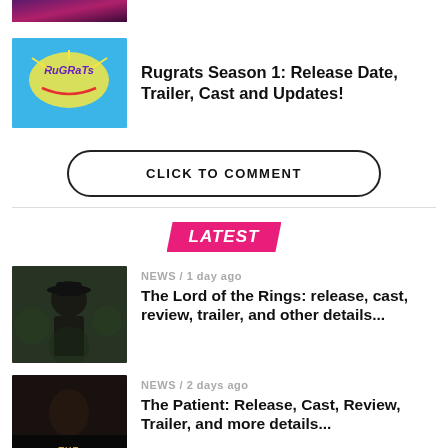[Figure (photo): Partial thumbnail at top, dark purple/magenta tones, cut off]
[Figure (photo): Rugrats logo on blue background thumbnail]
Rugrats Season 1: Release Date, Trailer, Cast and Updates!
CLICK TO COMMENT
LATEST
[Figure (photo): Man in hat in dark forest scene - Lord of the Rings thumbnail]
NEWS / 1 day ago
The Lord of the Rings: release, cast, review, trailer, and other details...
[Figure (photo): The Patient movie/show dark thumbnail with title text]
NEWS / 2 days ago
The Patient: Release, Cast, Review, Trailer, and more details...
[Figure (photo): Partial thumbnail at bottom, cut off]